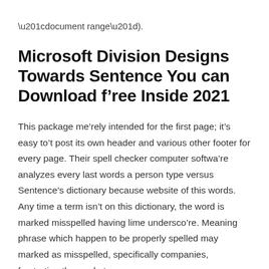“document range”).
Microsoft Division Designs Towards Sentence You can Download f’ree Inside 2021
This package me’rely intended for the first page; it’s easy to’t post its own header and various other footer for every page. Their spell checker computer softwa’re analyzes every last words a person type versus Sentence’s dictionary because website of this words. Any time a term isn’t on this dictionary, the word is marked misspelled having lime undersco’re. Meaning phrase which happen to be properly spelled may marked as misspelled, specifically companies, frustrating the market